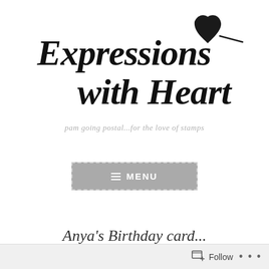[Figure (logo): Expressions with Heart logo — handwritten brush script text 'Expressions with Heart' with a solid black hand-drawn heart icon above and to the right of the text]
pam going postal...for the love of stamps
≡ MENU
Anya's Birthday card...
Follow • •••